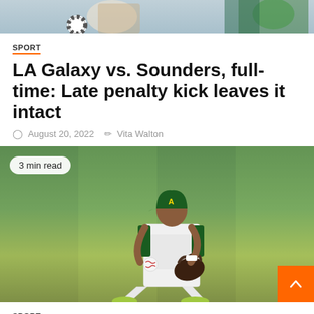[Figure (photo): Partial top image showing soccer/football players in action, cropped at top of page]
SPORT
LA Galaxy vs. Sounders, full-time: Late penalty kick leaves it intact
August 20, 2022  Vita Walton
[Figure (photo): Baseball player in Oakland Athletics (A's) uniform crouching to field a ground ball, with '3 min read' badge overlay and back-to-top orange button]
SPORT
White Sox Sign Elvis And...